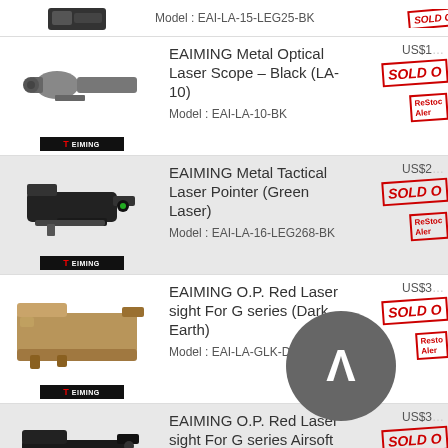Model : EAI-LA-15-LEG25-BK
EAIMING Metal Optical Laser Scope – Black (LA-10)
Model : EAI-LA-10-BK
EAIMING Metal Tactical Laser Pointer (Green Laser)
Model : EAI-LA-16-LEG268-BK
EAIMING O.P. Red Laser sight For G series (Dark Earth)
Model : EAI-LA-GLK-DE
EAIMING O.P. Red Laser sight For G series Airsoft Gun (BK)